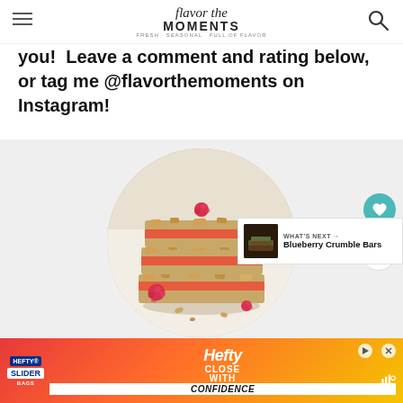Flavor the Moments
you!  Leave a comment and rating below, or tag me @flavorthemoments on Instagram!
[Figure (photo): Circular cropped photo of stacked raspberry oat crumble bars with fresh raspberries on a light background]
WHAT'S NEXT → Blueberry Crumble Bars
[Figure (photo): Advertisement for Hefty Slider Bags with text: Hefty CLOSE WITH CONFIDENCE in red, orange and yellow gradient background]